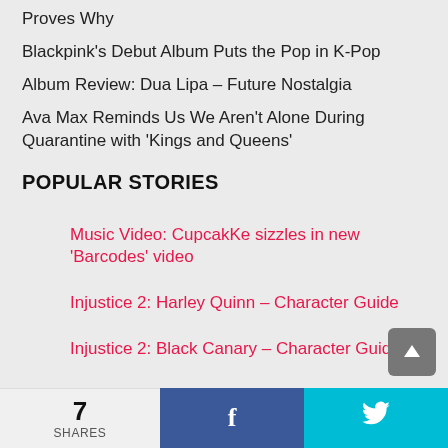Proves Why
Blackpink's Debut Album Puts the Pop in K-Pop
Album Review: Dua Lipa – Future Nostalgia
Ava Max Reminds Us We Aren't Alone During Quarantine with 'Kings and Queens'
POPULAR STORIES
Music Video: CupcakKe sizzles in new 'Barcodes' video
Injustice 2: Harley Quinn – Character Guide
Injustice 2: Black Canary – Character Guide
One Direction – 'Steal My Girl' Music Video
Introducing Your New Favorite Boy Band: RØYLS
7 SHARES